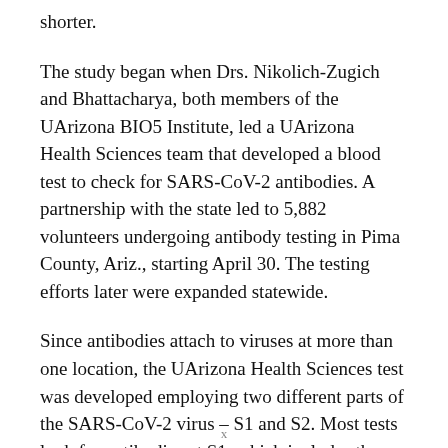shorter.
The study began when Drs. Nikolich-Zugich and Bhattacharya, both members of the UArizona BIO5 Institute, led a UArizona Health Sciences team that developed a blood test to check for SARS-CoV-2 antibodies. A partnership with the state led to 5,882 volunteers undergoing antibody testing in Pima County, Ariz., starting April 30. The testing efforts later were expanded statewide.
Since antibodies attach to viruses at more than one location, the UArizona Health Sciences test was developed employing two different parts of the SARS-CoV-2 virus – S1 and S2. Most tests look for antibodies at S1, which includes the receptor
x